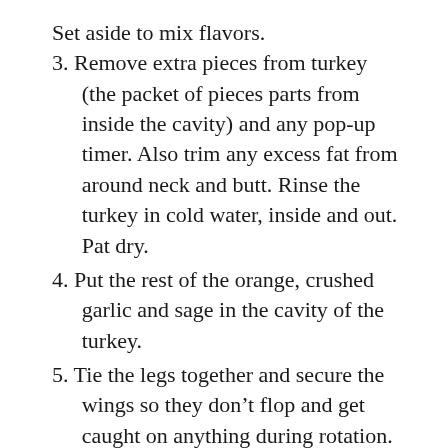Set aside to mix flavors.
3. Remove extra pieces from turkey (the packet of pieces parts from inside the cavity) and any pop-up timer. Also trim any excess fat from around neck and butt. Rinse the turkey in cold water, inside and out. Pat dry.
4. Put the rest of the orange, crushed garlic and sage in the cavity of the turkey.
5. Tie the legs together and secure the wings so they don’t flop and get caught on anything during rotation. Grab the rotisserie spit and slide one set of fork prongs to the very end. Slide the spit straight through the turkey, butt first. We like butt first because the breast meat, the thickest part, is then closer to the heat, and cooks better. Make sure to skewer the